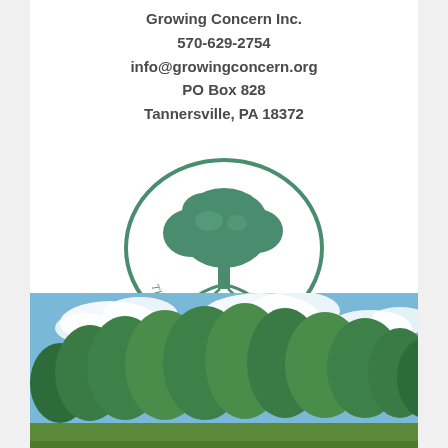Growing Concern Inc.
570-629-2754
info@growingconcern.org
PO Box 828
Tannersville, PA 18372
[Figure (logo): The Growing Concern oval logo with a green tree illustration and text 'The Growing Concern' around the border]
[Figure (photo): Outdoor landscape photo showing lush green trees against a partly cloudy blue sky, with what appears to be a field or lawn in the foreground]